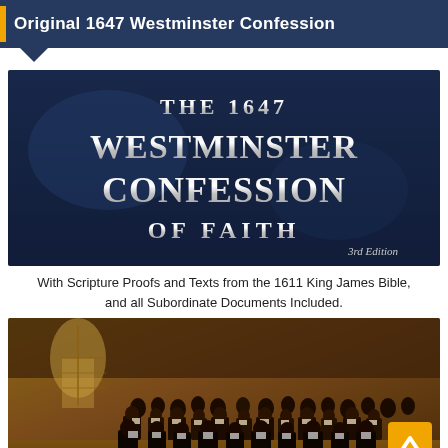Original 1647 Westminster Confession
[Figure (illustration): Book cover of 'The 1647 Westminster Confession of Faith' — dark blue background with large silver/white serif text reading 'THE 1647 WESTMINSTER CONFESSION OF FAITH', with '3rd Edition' in italic at bottom right.]
With Scripture Proofs and Texts from the 1611 King James Bible, and all Subordinate Documents Included.
[Figure (photo): Historical painting of the Westminster Assembly — a large gathering of clergy and scholars in a grand hall, men in 17th-century dress seated around tables, with tall arched windows in the background.]